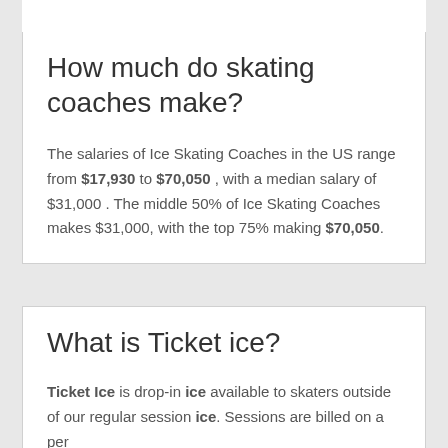How much do skating coaches make?
The salaries of Ice Skating Coaches in the US range from $17,930 to $70,050 , with a median salary of $31,000 . The middle 50% of Ice Skating Coaches makes $31,000, with the top 75% making $70,050.
What is Ticket ice?
Ticket Ice is drop-in ice available to skaters outside of our regular session ice. Sessions are billed on a per